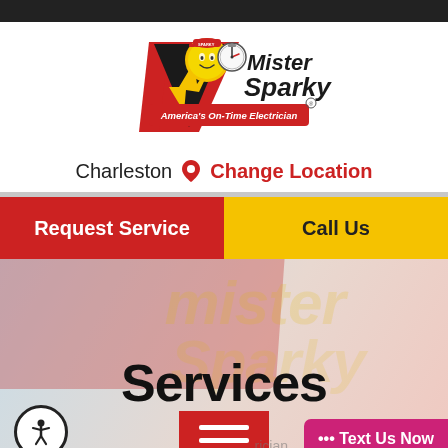[Figure (logo): Mister Sparky logo — light-bulb mascot character wearing a red cap, holding a stopwatch, with lightning bolt, red chevron, and text 'Mister Sparky America's On-Time Electrician']
Charleston  📍  Change Location
Request Service
Call Us
[Figure (photo): Background hero image showing a Mister Sparky branded service van with faded yellow Mister Sparky logo watermark overlay on a light blue/pink gradient background]
Services
[Figure (other): Hamburger menu icon (three horizontal white lines) on red background square]
••• Text Us Now